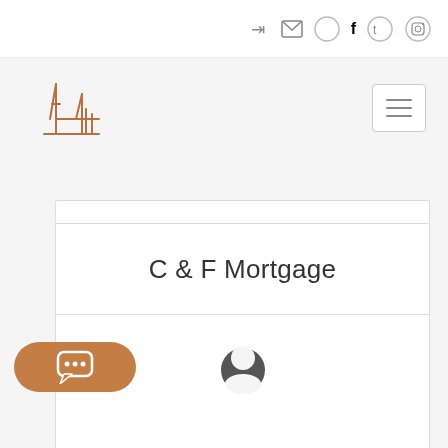[Figure (logo): Stylized bridge/cathedral outline logo in brown/copper color]
[Figure (screenshot): Navigation icons: login arrow, email envelope, Facebook circle, Twitter circle, Instagram circle]
[Figure (other): Hamburger menu button with three horizontal lines inside a bordered square]
[Figure (other): Orange/brown Send button]
Send
C & F Mortgage
[Figure (other): Chat bubble icon button (orange pill-shaped with speech bubble icon)]
[Figure (other): Gray user/profile avatar icon]